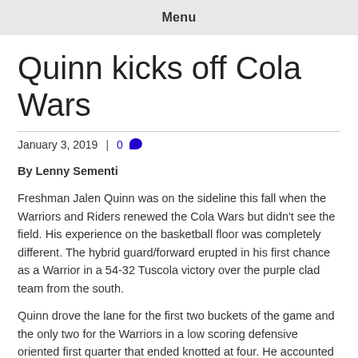Menu
Quinn kicks off Cola Wars
January 3, 2019  |  0
By Lenny Sementi
Freshman Jalen Quinn was on the sideline this fall when the Warriors and Riders renewed the Cola Wars but didn't see the field. His experience on the basketball floor was completely different. The hybrid guard/forward erupted in his first chance as a Warrior in a 54-32 Tuscola victory over the purple clad team from the south.
Quinn drove the lane for the first two buckets of the game and the only two for the Warriors in a low scoring defensive oriented first quarter that ended knotted at four. He accounted for a game and